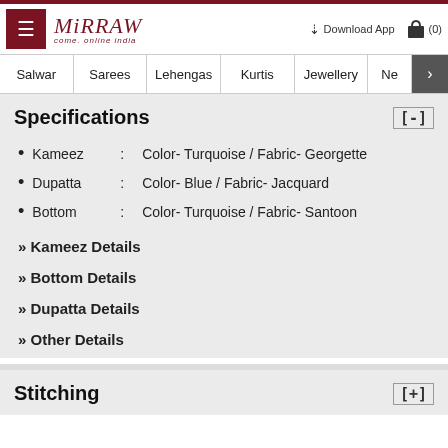Mirraw - Come Online India | Salwar | Sarees | Lehengas | Kurtis | Jewellery
Specifications [-]
Kameez : Color- Turquoise / Fabric- Georgette
Dupatta : Color- Blue / Fabric- Jacquard
Bottom : Color- Turquoise / Fabric- Santoon
» Kameez Details
» Bottom Details
» Dupatta Details
» Other Details
Stitching [+]